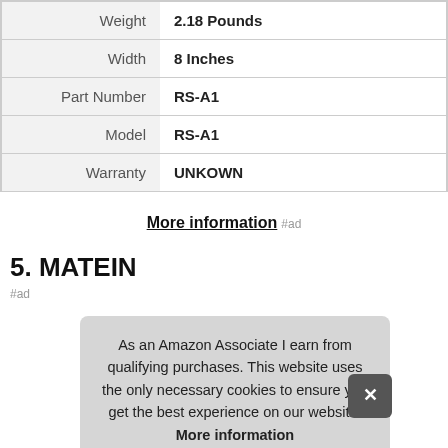|  |  |
| --- | --- |
| Weight | 2.18 Pounds |
| Width | 8 Inches |
| Part Number | RS-A1 |
| Model | RS-A1 |
| Warranty | UNKOWN |
More information #ad
5. MATEIN
#ad
As an Amazon Associate I earn from qualifying purchases. This website uses the only necessary cookies to ensure you get the best experience on our website. More information